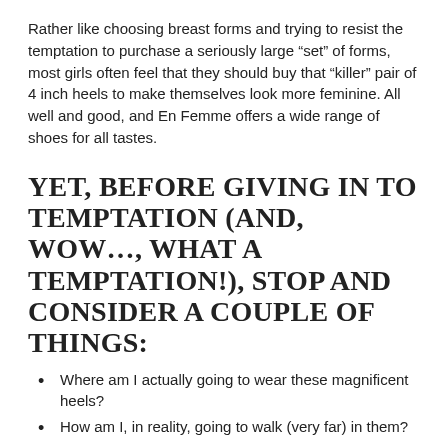Rather like choosing breast forms and trying to resist the temptation to purchase a seriously large “set” of forms, most girls often feel that they should buy that “killer” pair of 4 inch heels to make themselves look more feminine. All well and good, and En Femme offers a wide range of shoes for all tastes.
YET, BEFORE GIVING IN TO TEMPTATION (AND, WOW…, WHAT A TEMPTATION!), STOP AND CONSIDER A COUPLE OF THINGS:
Where am I actually going to wear these magnificent heels?
How am I, in reality, going to walk (very far) in them?
If you are content to prance around your home or other